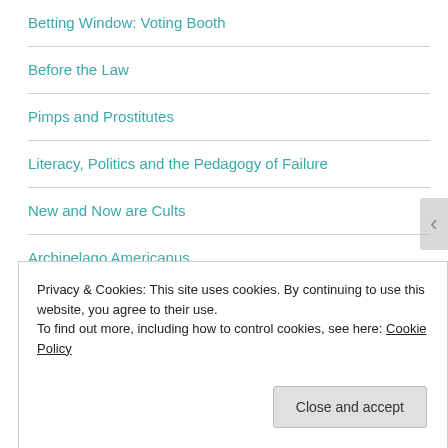Betting Window: Voting Booth
Before the Law
Pimps and Prostitutes
Literacy, Politics and the Pedagogy of Failure
New and Now are Cults
Archipelago Americanus
My Brother, My Likeness
Privacy & Cookies: This site uses cookies. By continuing to use this website, you agree to their use.
To find out more, including how to control cookies, see here: Cookie Policy